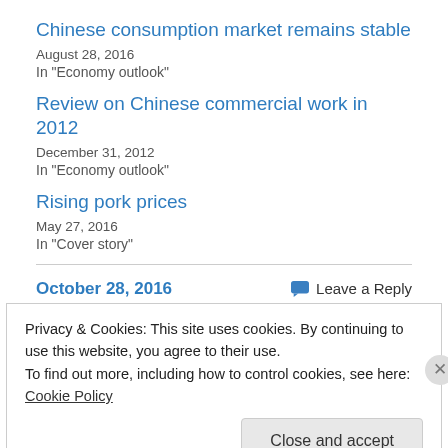Chinese consumption market remains stable
August 28, 2016
In "Economy outlook"
Review on Chinese commercial work in 2012
December 31, 2012
In "Economy outlook"
Rising pork prices
May 27, 2016
In "Cover story"
October 28, 2016
Leave a Reply
Privacy & Cookies: This site uses cookies. By continuing to use this website, you agree to their use. To find out more, including how to control cookies, see here: Cookie Policy
Close and accept